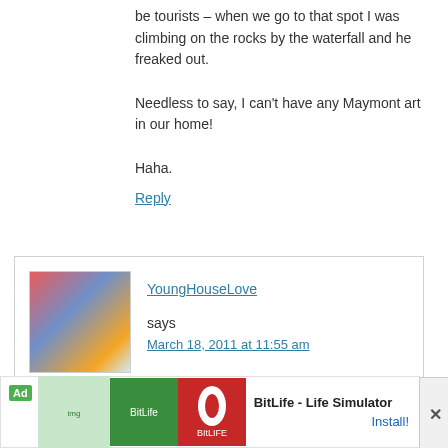be tourists – when we go to that spot I was climbing on the rocks by the waterfall and he freaked out.
Needless to say, I can't have any Maymont art in our home!
Haha.
Reply
YoungHouseLove says
March 18, 2011 at 11:55 am
Oh my gosh I can't believe that! We always